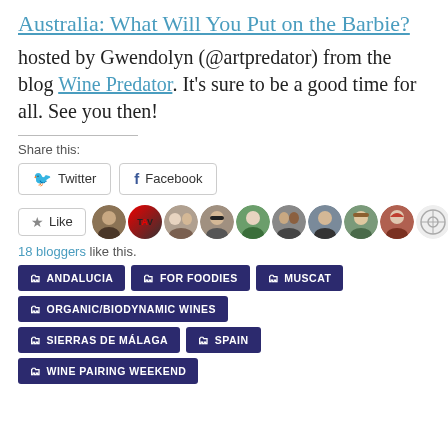Australia: What Will You Put on the Barbie?
hosted by Gwendolyn (@artpredator) from the blog Wine Predator. It's sure to be a good time for all. See you then!
Share this:
Twitter  Facebook
★ Like  18 bloggers like this.
ANDALUCIA  FOR FOODIES  MUSCAT  ORGANIC/BIODYNAMIC WINES  SIERRAS DE MÁLAGA  SPAIN  WINE PAIRING WEEKEND